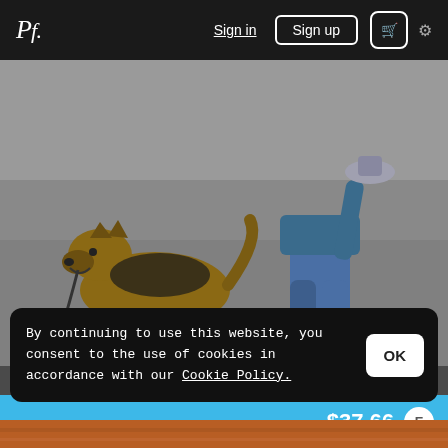Pf. | Sign in | Sign up | Cart | Settings
[Figure (photo): A German Shepherd dog walking beside a child in jeans and sandals on pavement, viewed from ground level]
by Stefan Ferreira
$37.66 E
By continuing to use this website, you consent to the use of cookies in accordance with our Cookie Policy.
[Figure (photo): Bottom strip showing partial view of a wooden or orange-toned surface]